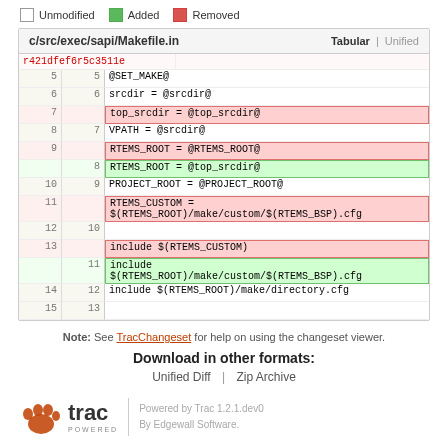[Figure (screenshot): Code diff view of c/src/exec/sapi/Makefile.in showing tabular diff with removed and added lines highlighted in red and green respectively. Line numbers shown on left and right sides. Changes include top_srcdir, RTEMS_ROOT, and include directives.]
Note: See TracChangeset for help on using the changeset viewer.
Download in other formats:
Unified Diff | Zip Archive
[Figure (logo): Trac powered logo with paw print. Powered by Trac 1.2.1.dev0, By Edgewall Software.]